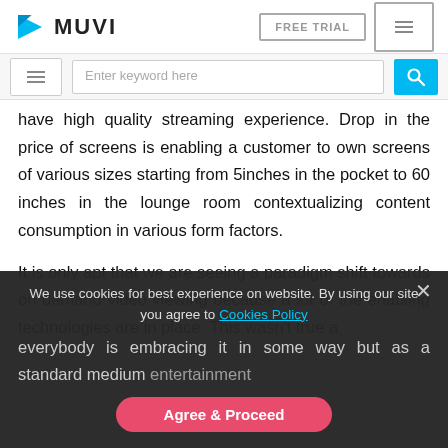MUVI — FREE TRIAL
have high quality streaming experience. Drop in the price of screens is enabling a customer to own screens of various sizes starting from 5inches in the pocket to 60 inches in the lounge room contextualizing content consumption in various form factors.
It is only apt that we are seeing a paradigm shift towards on demand video viewing because a lot of the enabling technologies are in place. This wasn't true a everybody is embracing it in some way but as a standard medium entertainment
We use cookies for best experience on website. By using our site you agree to Cookies Policy